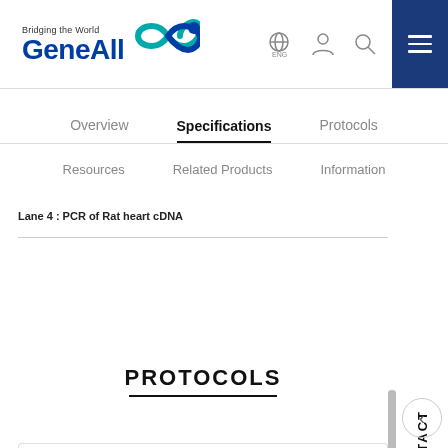[Figure (logo): GeneAll logo with infinity symbol and 'Bridging the World' tagline]
Overview | Specifications | Protocols
Resources | Related Products | Information
Lane 4 : PCR of Rat heart cDNA
PROTOCOLS
CONTACT